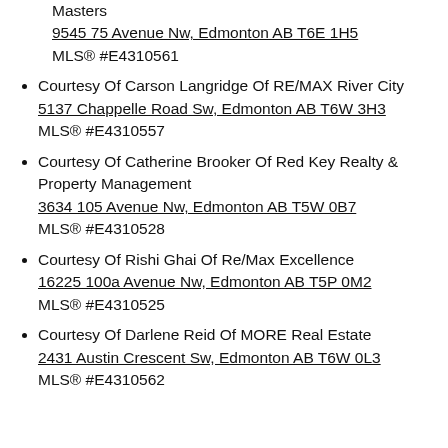Masters
9545 75 Avenue Nw, Edmonton AB T6E 1H5
MLS® #E4310561
Courtesy Of Carson Langridge Of RE/MAX River City
5137 Chappelle Road Sw, Edmonton AB T6W 3H3
MLS® #E4310557
Courtesy Of Catherine Brooker Of Red Key Realty & Property Management
3634 105 Avenue Nw, Edmonton AB T5W 0B7
MLS® #E4310528
Courtesy Of Rishi Ghai Of Re/Max Excellence
16225 100a Avenue Nw, Edmonton AB T5P 0M2
MLS® #E4310525
Courtesy Of Darlene Reid Of MORE Real Estate
2431 Austin Crescent Sw, Edmonton AB T6W 0L3
MLS® #E4310562